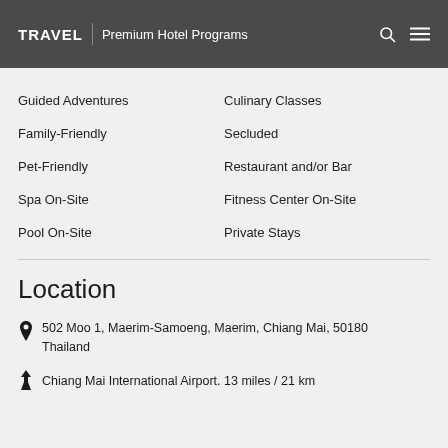TRAVEL | Premium Hotel Programs
Guided Adventures
Culinary Classes
Family-Friendly
Secluded
Pet-Friendly
Restaurant and/or Bar
Spa On-Site
Fitness Center On-Site
Pool On-Site
Private Stays
Location
502 Moo 1, Maerim-Samoeng, Maerim, Chiang Mai, 50180 Thailand
Chiang Mai International Airport. 13 miles / 21 km